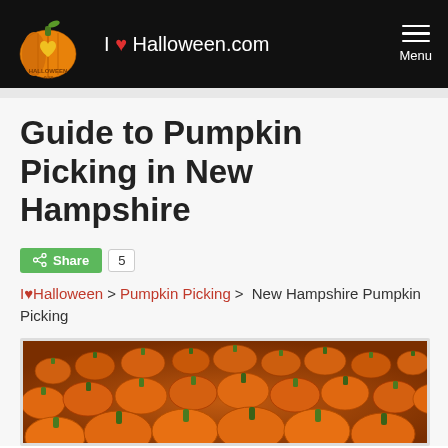I ♥ Halloween.com
Guide to Pumpkin Picking in New Hampshire
Share 5
I♥Halloween > Pumpkin Picking > New Hampshire Pumpkin Picking
[Figure (photo): Large field of orange pumpkins packed together, viewed from above and slightly angled, filling the entire frame.]